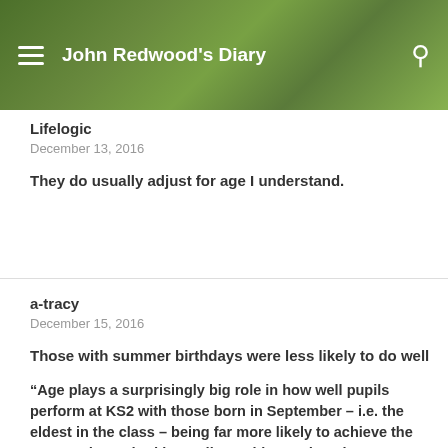John Redwood's Diary
Lifelogic
December 13, 2016
They do usually adjust for age I understand.
a-tracy
December 15, 2016
Those with summer birthdays were less likely to do well

“Age plays a surprisingly big role in how well pupils perform at KS2 with those born in September – i.e. the eldest in the class – being far more likely to achieve the expected standard in reading writing and maths